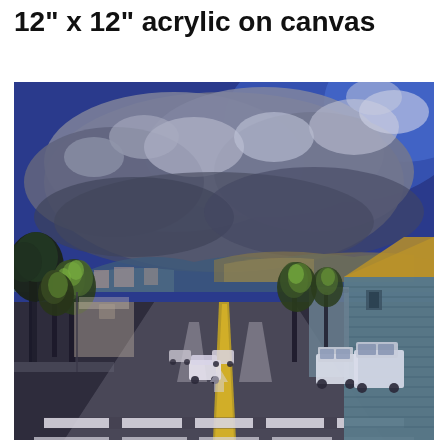12" x 12" acrylic on canvas
[Figure (illustration): Acrylic painting on canvas (12x12 inches) depicting a street scene viewed from a driver's perspective, with a pedestrian crosswalk in the foreground, road with yellow center lines extending toward a small town, trees lining both sides of the street, parked and moving vehicles, buildings on the right side, hills in the background, and a dramatic stormy blue-grey sky with large cumulus clouds above.]